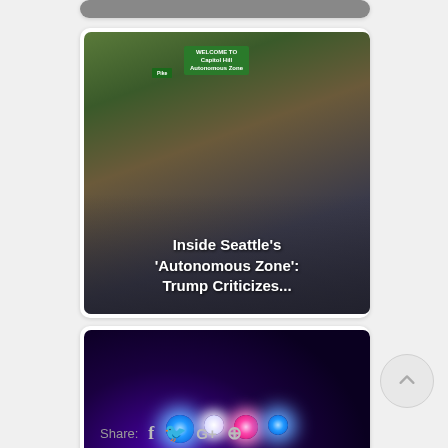[Figure (photo): News article card with photo of Seattle Capitol Hill Autonomous Zone (CHAZ) with crowd and green welcome sign, overlaid with white bold text reading: Inside Seattle's 'Autonomous Zone': Trump Criticizes...]
[Figure (photo): News article card with dark photo of police car with flashing blue and pink lights at night, overlaid with white bold text reading: Man flees after police chase, crash in Northampton...]
Share: